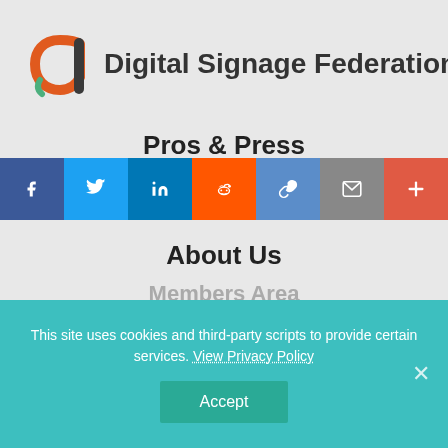[Figure (logo): Digital Signage Federation logo: circular 'd' letterform in orange/red with teal accent, beside bold sans-serif text 'Digital Signage Federation']
Pros & Press
[Figure (infographic): Social sharing bar with 7 buttons: Facebook (blue), Twitter (light blue), LinkedIn (dark blue), Reddit (orange), Link/copy (medium blue), Email (gray), More/plus (red-orange)]
About Us
Members Area
Resources
Contact
This site uses cookies and third-party scripts to provide certain services. View Privacy Policy
Accept